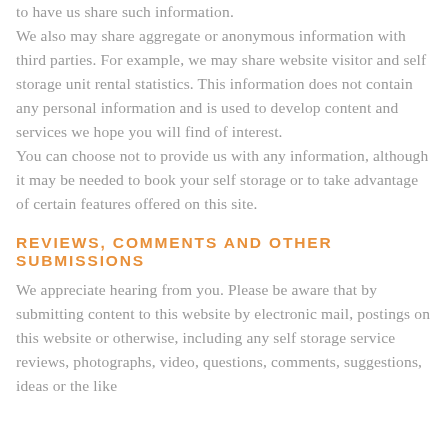to have us share such information. We also may share aggregate or anonymous information with third parties. For example, we may share website visitor and self storage unit rental statistics. This information does not contain any personal information and is used to develop content and services we hope you will find of interest. You can choose not to provide us with any information, although it may be needed to book your self storage or to take advantage of certain features offered on this site.
REVIEWS, COMMENTS AND OTHER SUBMISSIONS
We appreciate hearing from you. Please be aware that by submitting content to this website by electronic mail, postings on this website or otherwise, including any self storage service reviews, photographs, video, questions, comments, suggestions, ideas or the like